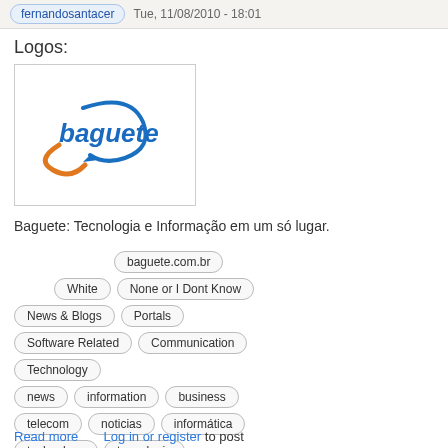fernandosantacer  Tue, 11/08/2010 - 18:01
Logos:
[Figure (logo): Baguete logo — blue text 'baguete' with a circular arrow graphic in blue and orange]
Baguete: Tecnologia e Informação em um só lugar.
baguete.com.br
White
None or I Dont Know
News & Blogs
Portals
Software Related
Communication
Technology
news
information
business
telecom
noticias
informática
technology
tecnologia
enterprise
informacao
automacao
empresarial
corporativo
corporate
negocios
Read more      Log in or register to post
Username
Password *
Create new account
Request new password
Log in
[Figure (infographic): Fast Dial addon icon — 2x2 grid of colored squares (blue, yellow, orange, green) beside text 'Fast D']
Changelog
Latest releases
Important links
Get Fast Dial
[Figure (illustration): Simple mail envelope icon in blue beside partial text 'Simpl']